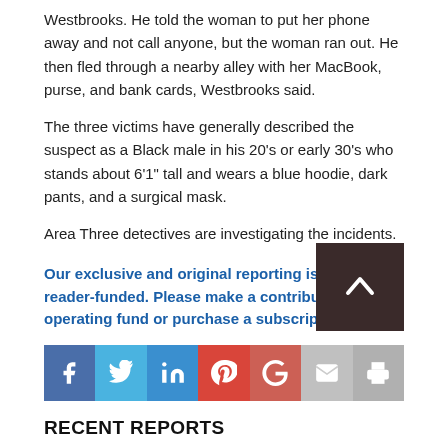Westbrooks. He told the woman to put her phone away and not call anyone, but the woman ran out. He then fled through a nearby alley with her MacBook, purse, and bank cards, Westbrooks said.
The three victims have generally described the suspect as a Black male in his 20's or early 30's who stands about 6'1" tall and wears a blue hoodie, dark pants, and a surgical mask.
Area Three detectives are investigating the incidents.
Our exclusive and original reporting is 100% reader-funded. Please make a contribution to our operating fund or purchase a subscription today.
[Figure (infographic): Social media sharing buttons: Facebook, Twitter, LinkedIn, Pinterest, Google+, Email, Print]
RECENT REPORTS